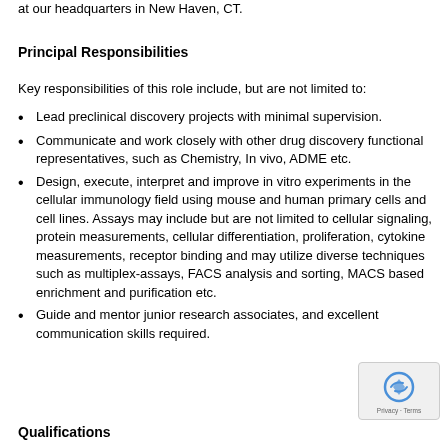at our headquarters in New Haven, CT.
Principal Responsibilities
Key responsibilities of this role include, but are not limited to:
Lead preclinical discovery projects with minimal supervision.
Communicate and work closely with other drug discovery functional representatives, such as Chemistry, In vivo, ADME etc.
Design, execute, interpret and improve in vitro experiments in the cellular immunology field using mouse and human primary cells and cell lines. Assays may include but are not limited to cellular signaling, protein measurements, cellular differentiation, proliferation, cytokine measurements, receptor binding and may utilize diverse techniques such as multiplex-assays, FACS analysis and sorting, MACS based enrichment and purification etc.
Guide and mentor junior research associates, and excellent communication skills required.
Qualifications